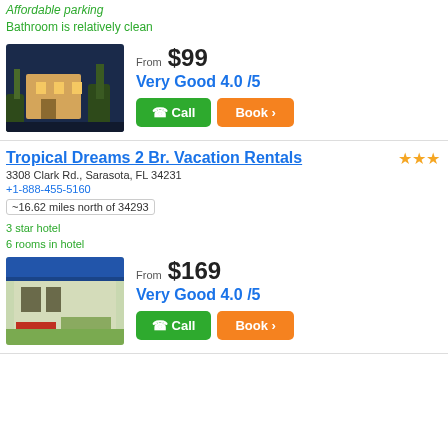Affordable parking
Bathroom is relatively clean
[Figure (photo): Night exterior photo of a hotel building with palm trees and warm lighting]
From $99
Very Good 4.0 /5
Call
Book ›
Tropical Dreams 2 Br. Vacation Rentals
3308 Clark Rd., Sarasota, FL 34231
+1-888-455-5160
~16.62 miles north of 34293
3 star hotel
6 rooms in hotel
[Figure (photo): Daytime exterior photo of a hotel with blue awning and garden/pool area]
From $169
Very Good 4.0 /5
Call
Book ›